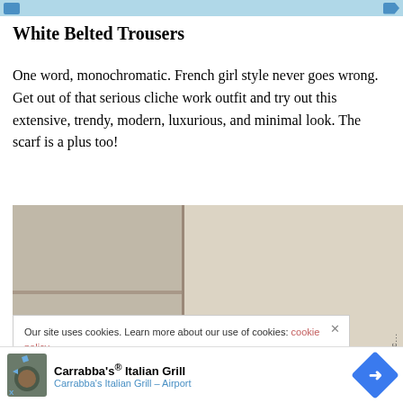[Figure (screenshot): Top advertisement banner with blue background and navigation icons]
White Belted Trousers
One word, monochromatic. French girl style never goes wrong. Get out of that serious cliche work outfit and try out this extensive, trendy, modern, luxurious, and minimal look. The scarf is a plus too!
[Figure (photo): Photo of a woman with dark hair and glasses standing against a stone/concrete wall, wearing a white monochromatic outfit]
Our site uses cookies. Learn more about our use of cookies: cookie policy
I ACCEPT USE OF COOKIES
[Figure (screenshot): Bottom advertisement for Carrabba's Italian Grill - Airport with logo and directional arrow icon]